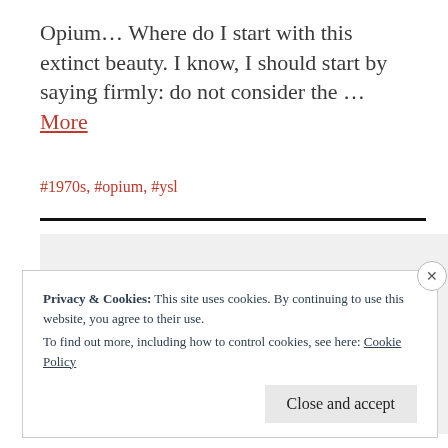Opium… Where do I start with this extinct beauty. I know, I should start by saying firmly: do not consider the … More
#1970s, #opium, #ysl
[Figure (photo): Light grey placeholder image area]
Privacy & Cookies: This site uses cookies. By continuing to use this website, you agree to their use.
To find out more, including how to control cookies, see here: Cookie Policy
Close and accept